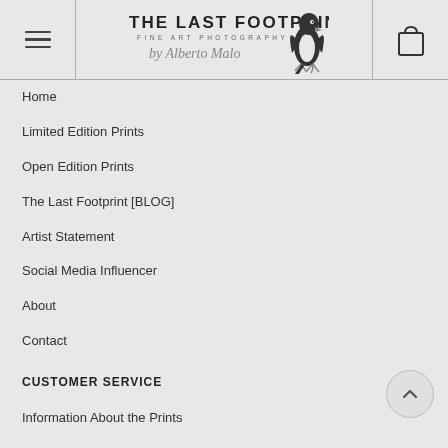THE LAST FOOTPRINT | FINE ART PHOTOGRAPHY by Alberto Malo
Home
Limited Edition Prints
Open Edition Prints
The Last Footprint [BLOG]
Artist Statement
Social Media Influencer
About
Contact
CUSTOMER SERVICE
Information About the Prints
FAQ
Disclaimer
Search